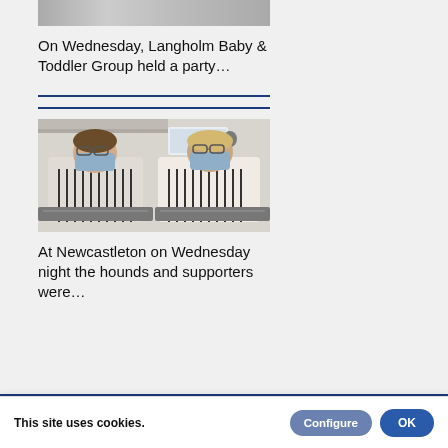[Figure (photo): Top portion of photo showing two people at a table, partially cropped]
On Wednesday, Langholm Baby & Toddler Group held a party…
[Figure (photo): Two women wearing blue face masks and striped aprons standing in a kitchen, each holding a tray]
At Newcastleton on Wednesday night the hounds and supporters were…
This site uses cookies.